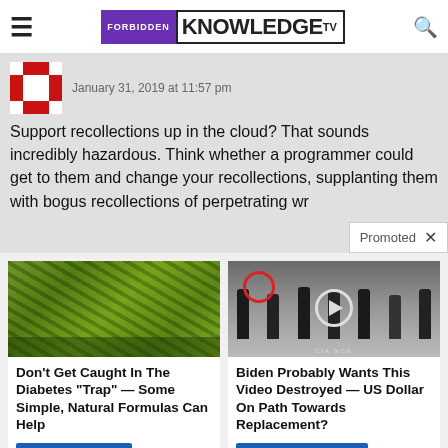FORBIDDEN KNOWLEDGE TV
January 31, 2019 at 11:57 pm
Support recollections up in the cloud? That sounds incredibly hazardous. Think whether a programmer could get to them and change your recollections, supplanting them with bogus recollections of perpetrating wr
Promoted
[Figure (photo): Green plant stems/shoots close-up photo]
Don't Get Caught In The Diabetes "Trap" — Some Simple, Natural Formulas Can Help
Find Out More
[Figure (photo): Group of men in suits standing in a room, with a red circle highlight on one person and a play button overlay, CIA seal visible on floor]
Biden Probably Wants This Video Destroyed — US Dollar On Path Towards Replacement?
Watch The Video